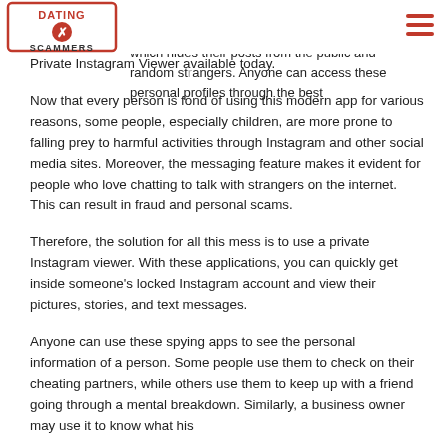Dating Scammers logo and navigation
direct messaging feature. People can also make their accounts private on Instagram, which hides their posts from the public and random strangers. Anyone can access these personal profiles through the best Private Instagram Viewer available today.
Now that every person is fond of using this modern app for various reasons, some people, especially children, are more prone to falling prey to harmful activities through Instagram and other social media sites. Moreover, the messaging feature makes it evident for people who love chatting to talk with strangers on the internet. This can result in fraud and personal scams.
Therefore, the solution for all this mess is to use a private Instagram viewer. With these applications, you can quickly get inside someone’s locked Instagram account and view their pictures, stories, and text messages.
Anyone can use these spying apps to see the personal information of a person. Some people use them to check on their cheating partners, while others use them to keep up with a friend going through a mental breakdown. Similarly, a business owner may use it to know what his